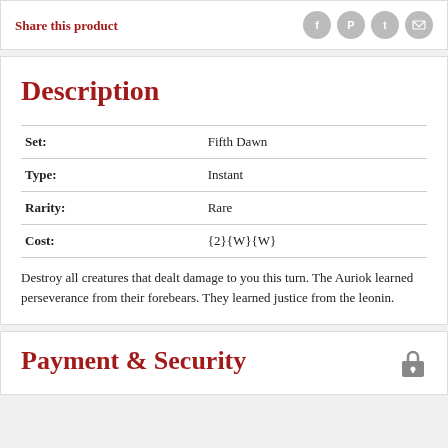Share this product
Description
|  |  |
| --- | --- |
| Set: | Fifth Dawn |
| Type: | Instant |
| Rarity: | Rare |
| Cost: | {2}{W}{W} |
Destroy all creatures that dealt damage to you this turn. The Auriok learned perseverance from their forebears. They learned justice from the leonin.
Payment & Security